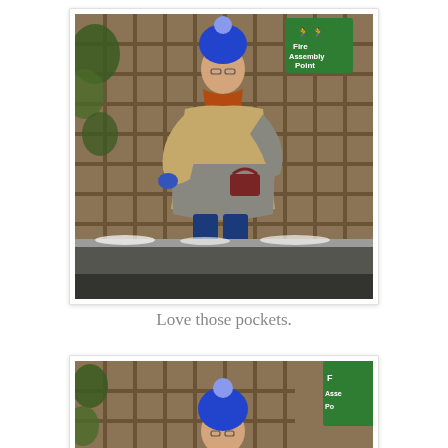[Figure (photo): A person wearing a blue pompom beanie hat, orange scarf, camel/grey oversized coat with pockets, blue skinny jeans, and tan/brown shoes, standing outside in front of a wooden trellis fence with ivy. There is a green Fire Assembly Point sign visible in the top right. Light snow is visible on the ground near the curb.]
Love those pockets.
[Figure (photo): Partial/cropped view of the same scene — person wearing blue pompom beanie hat visible from mid-torso upward, with wooden trellis fence and green Assembly Point sign in background. The image is cut off at the bottom of the page.]